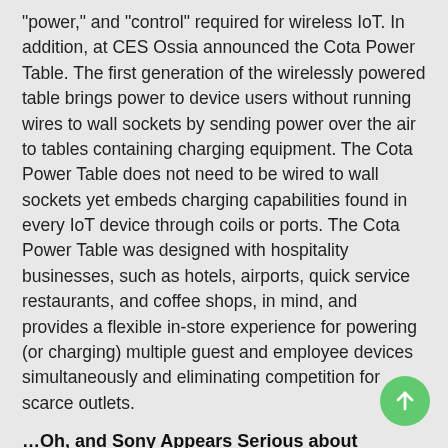"power," and "control" required for wireless IoT. In addition, at CES Ossia announced the Cota Power Table. The first generation of the wirelessly powered table brings power to device users without running wires to wall sockets by sending power over the air to tables containing charging equipment. The Cota Power Table does not need to be wired to wall sockets yet embeds charging capabilities found in every IoT device through coils or ports. The Cota Power Table was designed with hospitality businesses, such as hotels, airports, quick service restaurants, and coffee shops, in mind, and provides a flexible in-store experience for powering (or charging) multiple guest and employee devices simultaneously and eliminating competition for scarce outlets.
…Oh, and Sony Appears Serious about Building Cars
Sony had one of the more prominent booth footprints at CES which included two new concept cars – the previously introduced Vision-S sedan and the new electric SUV Vision-S